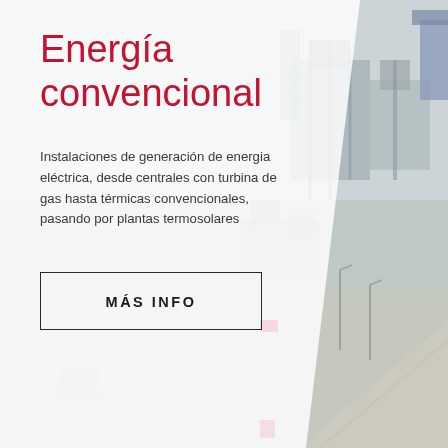[Figure (photo): Aerial view of a conventional energy power plant with industrial facilities, gas turbines, pipes, and infrastructure. The right side shows a detailed industrial complex with machinery, buildings, and roads.]
Energía convencional
Instalaciones de generación de energia eléctrica, desde centrales con turbina de gas hasta térmicas convencionales, pasando por plantas termosolares
MÁS INFO